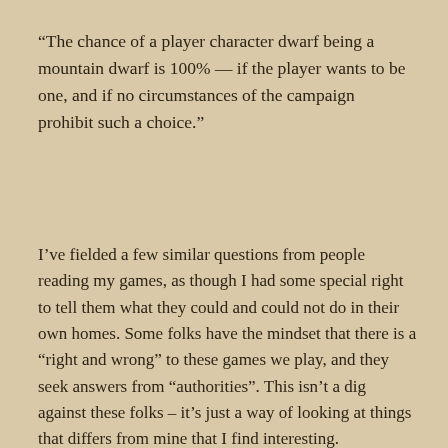“The chance of a player character dwarf being a mountain dwarf is 100% — if the player wants to be one, and if no circumstances of the campaign prohibit such a choice.”
I’ve fielded a few similar questions from people reading my games, as though I had some special right to tell them what they could and could not do in their own homes. Some folks have the mindset that there is a “right and wrong” to these games we play, and they seek answers from “authorities”. This isn’t a dig against these folks – it’s just a way of looking at things that differs from mine that I find interesting.